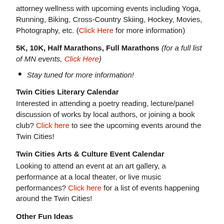attorney wellness with upcoming events including Yoga, Running, Biking, Cross-Country Skiing, Hockey, Movies, Photography, etc. (Click Here for more information)
5K, 10K, Half Marathons, Full Marathons (for a full list of MN events, Click Here)
Stay tuned for more information!
Twin Cities Literary Calendar
Interested in attending a poetry reading, lecture/panel discussion of works by local authors, or joining a book club? Click here to see the upcoming events around the Twin Cities!
Twin Cities Arts & Culture Event Calendar
Looking to attend an event at an art gallery, a performance at a local theater, or live music performances? Click here for a list of events happening around the Twin Cities!
Other Fun Ideas